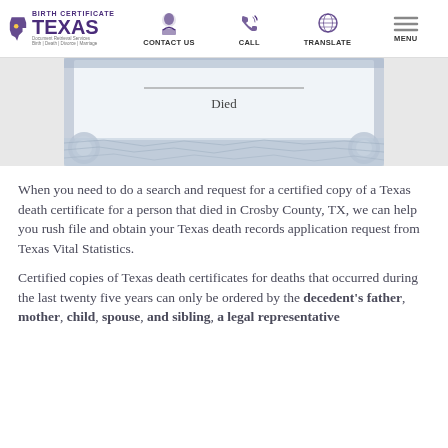BIRTH CERTIFICATE TEXAS - CONTACT US | CALL | TRANSLATE | MENU
[Figure (photo): Partial view of a Texas death certificate with ornate border and the word 'Died' visible]
When you need to do a search and request for a certified copy of a Texas death certificate for a person that died in Crosby County, TX, we can help you rush file and obtain your Texas death records application request from Texas Vital Statistics.
Certified copies of Texas death certificates for deaths that occurred during the last twenty five years can only be ordered by the decedent's father, mother, child, spouse, and sibling, a legal representative